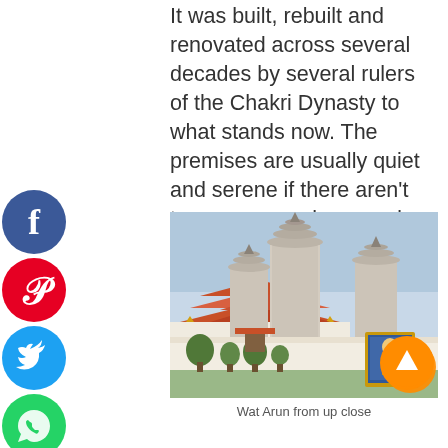It was built, rebuilt and renovated across several decades by several rulers of the Chakri Dynasty to what stands now. The premises are usually quiet and serene if there aren't too many people around. There is also a temple right next to it if you want to spend more time here.
[Figure (photo): Photograph of Wat Arun temple complex viewed from up close, showing ornate prangs (towers) and traditional Thai rooftops with orange/red tiles, white walls, decorative trees, and a royal portrait shrine in the foreground.]
Wat Arun from up close